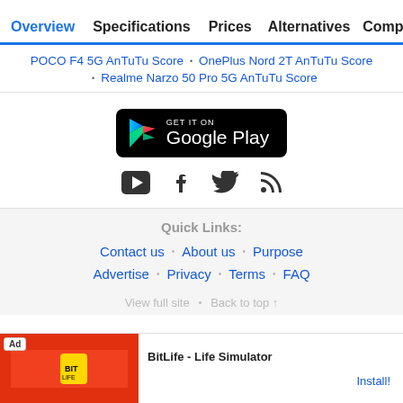Overview · Specifications · Prices · Alternatives · Compar…
POCO F4 5G AnTuTu Score · OnePlus Nord 2T AnTuTu Score · Realme Narzo 50 Pro 5G AnTuTu Score
[Figure (logo): Get it on Google Play button]
[Figure (other): Social media icons: YouTube, Facebook, Twitter, RSS]
Quick Links:
Contact us · About us · Purpose
Advertise · Privacy · Terms · FAQ
View full site · Back to top ↑
[Figure (other): Ad banner: BitLife - Life Simulator app advertisement with Install button]